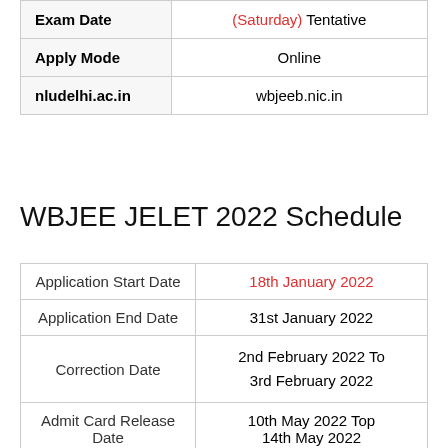|  |  |
| --- | --- |
| Exam Date | (Saturday) Tentative |
| Apply Mode | Online |
| nludelhi.ac.in | wbjeeb.nic.in |
WBJEE JELET 2022 Schedule
|  |  |
| --- | --- |
| Application Start Date | 18th January 2022 |
| Application End Date | 31st January 2022 |
| Correction Date | 2nd February 2022 To 3rd February 2022 |
| Admit Card Release Date | 10th May 2022 Top 14th May 2022 |